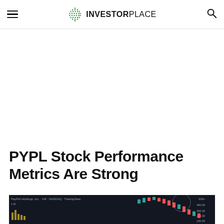InvestorPlace
PYPL Stock Performance Metrics Are Strong
[Figure (screenshot): A TradingView candlestick chart of PayPal Holdings, Inc. (PYPL) on NASDAQ showing stock price history with candlesticks on a dark background. The chart shows a peak followed by a decline, with price levels around 100-600+ range visible on the right axis.]